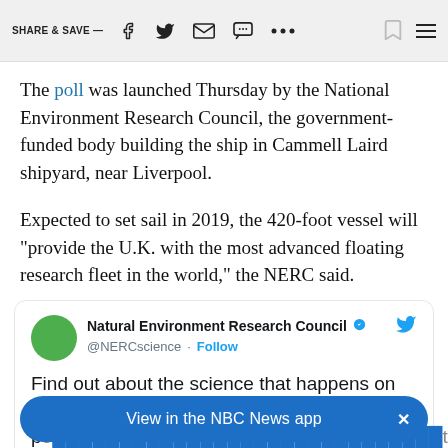SHARE & SAVE —
The poll was launched Thursday by the National Environment Research Council, the government-funded body building the ship in Cammell Laird shipyard, near Liverpool.
Expected to set sail in 2019, the 420-foot vessel will "provide the U.K. with the most advanced floating research fleet in the world," the NERC said.
[Figure (screenshot): Embedded tweet from @NERCscience (Natural Environment Research Council). Tweet text: Find out about the science that happens on our po...tio... #Nam...]
View in the NBC News app